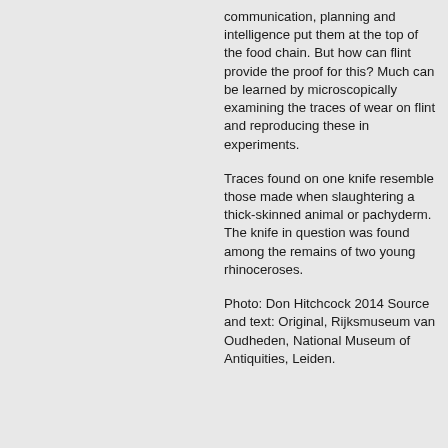communication, planning and intelligence put them at the top of the food chain. But how can flint provide the proof for this? Much can be learned by microscopically examining the traces of wear on flint and reproducing these in experiments.
Traces found on one knife resemble those made when slaughtering a thick-skinned animal or pachyderm. The knife in question was found among the remains of two young rhinoceroses.
Photo: Don Hitchcock 2014 Source and text: Original, Rijksmuseum van Oudheden, National Museum of Antiquities, Leiden.